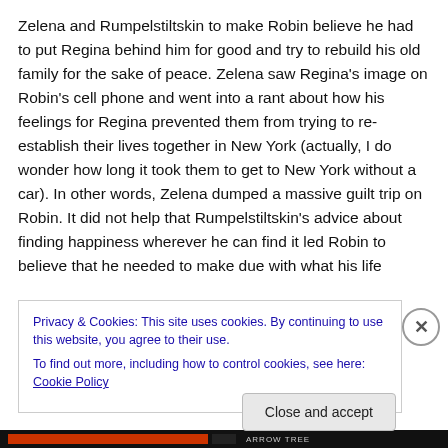Zelena and Rumpelstiltskin to make Robin believe he had to put Regina behind him for good and try to rebuild his old family for the sake of peace. Zelena saw Regina's image on Robin's cell phone and went into a rant about how his feelings for Regina prevented them from trying to re-establish their lives together in New York (actually, I do wonder how long it took them to get to New York without a car). In other words, Zelena dumped a massive guilt trip on Robin. It did not help that Rumpelstiltskin's advice about finding happiness wherever he can find it led Robin to believe that he needed to make due with what his life
Privacy & Cookies: This site uses cookies. By continuing to use this website, you agree to their use.
To find out more, including how to control cookies, see here: Cookie Policy
Close and accept